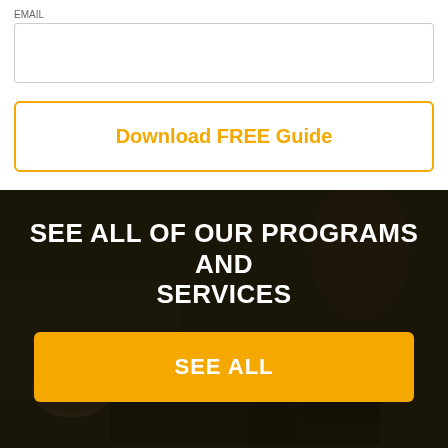EMAIL
[Figure (other): Empty text input field with light gray border]
Download FREE Guide
[Figure (photo): Dark-toned photo of people working at a desk with laptop, notebook, tablet and coffee cup, with dark overlay]
SEE ALL OF OUR PROGRAMS AND SERVICES
SEE ALL